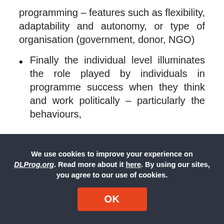programming – features such as flexibility, adaptability and autonomy, or type of organisation (government, donor, NGO)
Finally the individual level illuminates the role played by individuals in programme success when they think and work politically – particularly the behaviours,
We use cookies to improve your experience on DLProg.org. Read more about it here. By using our sites, you agree to our use of cookies.